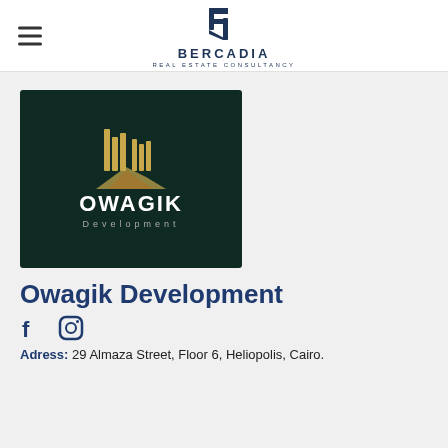BERCADIA REAL ESTATE CONSULTANCY
[Figure (logo): Owagik Development dark green logo with golden building icon, company name OWAGIK in white, and Development in grey below]
Owagik Development
[Figure (logo): Facebook and Instagram social media icons]
Adress: 29 Almaza Street, Floor 6, Heliopolis, Cairo.